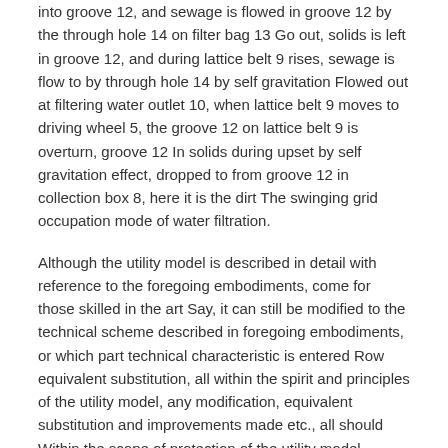into groove 12, and sewage is flowed in groove 12 by the through hole 14 on filter bag 13 Go out, solids is left in groove 12, and during lattice belt 9 rises, sewage is flow to by through hole 14 by self gravitation Flowed out at filtering water outlet 10, when lattice belt 9 moves to driving wheel 5, the groove 12 on lattice belt 9 is overturn, groove 12 In solids during upset by self gravitation effect, dropped to from groove 12 in collection box 8, here it is the dirt The swinging grid occupation mode of water filtration.
Although the utility model is described in detail with reference to the foregoing embodiments, come for those skilled in the art Say, it can still be modified to the technical scheme described in foregoing embodiments, or which part technical characteristic is entered Row equivalent substitution, all within the spirit and principles of the utility model, any modification, equivalent substitution and improvements made etc., all should Within the scope of protection of the utility model.
Similar Documents